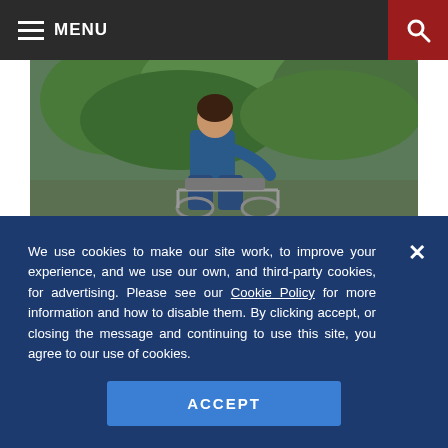MENU
[Figure (photo): Person in a wheelchair outdoors, with green foliage in the background. The image shows the lower body and wheelchair from close range.]
IRS Answers Questions on Paid Family Leave Tax Credit
We use cookies to make our site work, to improve your experience, and we use our own, and third-party cookies, for advertising. Please see our Cookie Policy for more information and how to disable them. By clicking accept, or closing the message and continuing to use this site, you agree to our use of cookies.
ACCEPT